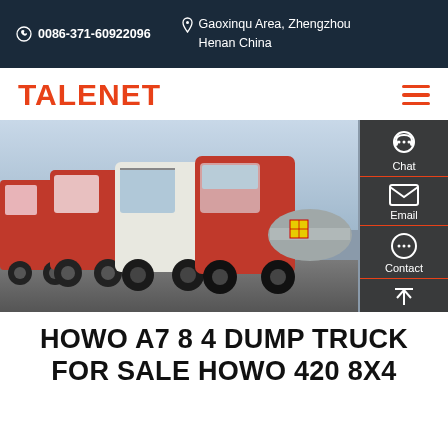0086-371-60922096 | Gaoxinqu Area, Zhengzhou Henan China
TALENET
[Figure (photo): A row of red and white heavy-duty trucks (HOWO) parked in a yard, with a side panel showing Chat, Email, Contact, and Top icons on the right.]
HOWO A7 8 4 DUMP TRUCK FOR SALE HOWO 420 8X4